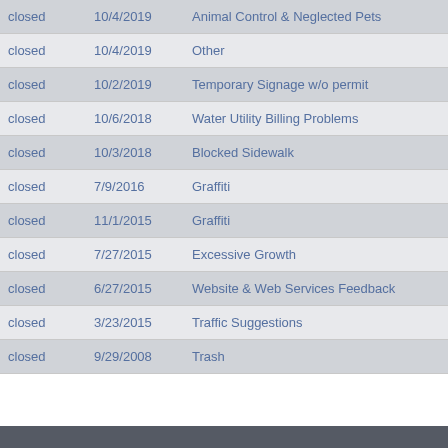| closed | 10/4/2019 | Animal Control & Neglected Pets |
| closed | 10/4/2019 | Other |
| closed | 10/2/2019 | Temporary Signage w/o permit |
| closed | 10/6/2018 | Water Utility Billing Problems |
| closed | 10/3/2018 | Blocked Sidewalk |
| closed | 7/9/2016 | Graffiti |
| closed | 11/1/2015 | Graffiti |
| closed | 7/27/2015 | Excessive Growth |
| closed | 6/27/2015 | Website & Web Services Feedback |
| closed | 3/23/2015 | Traffic Suggestions |
| closed | 9/29/2008 | Trash |